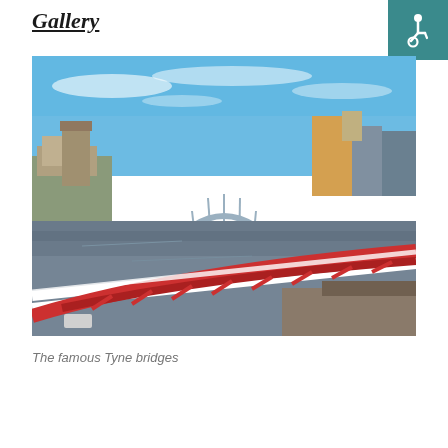Gallery
[Figure (photo): Aerial view of the famous Tyne bridges in Newcastle. The foreground shows the Swing Bridge with distinctive red and white diagonal arches, while the iconic Tyne Bridge with its steel arch spans the River Tyne in the background. Blue sky with wispy clouds above, city buildings on both banks.]
The famous Tyne bridges